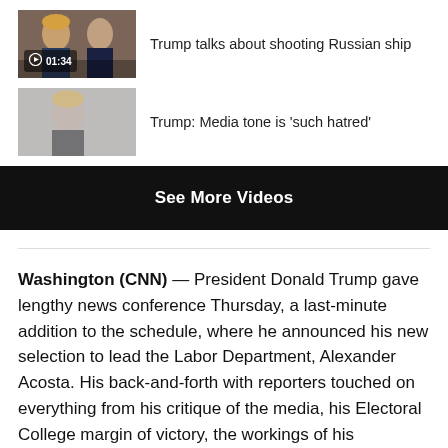[Figure (screenshot): Video thumbnail showing Trump and Putin side by side]
Trump talks about shooting Russian ship
[Figure (screenshot): Video thumbnail showing Trump at press conference]
Trump: Media tone is 'such hatred'
See More Videos
Washington (CNN) — President Donald Trump gave lengthy news conference Thursday, a last-minute addition to the schedule, where he announced his new selection to lead the Labor Department, Alexander Acosta. His back-and-forth with reporters touched on everything from his critique of the media, his Electoral College margin of victory, the workings of his administration, former national security adviser